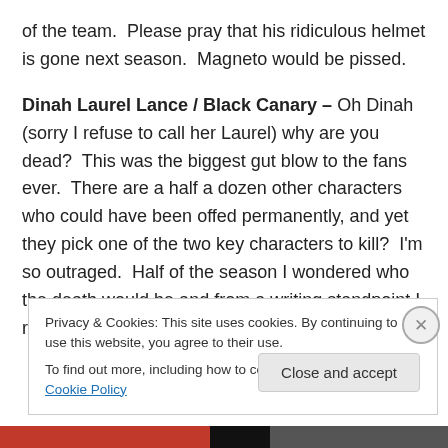of the team.  Please pray that his ridiculous helmet is gone next season.  Magneto would be pissed.
Dinah Laurel Lance / Black Canary – Oh Dinah (sorry I refuse to call her Laurel) why are you dead?  This was the biggest gut blow to the fans ever.  There are a half a dozen other characters who could have been offed permanently, and yet they pick one of the two key characters to kill?  I'm so outraged.  Half of the season I wondered who the death would be and from a writing standpoint I realize why they did it because it was the least
Privacy & Cookies: This site uses cookies. By continuing to use this website, you agree to their use.
To find out more, including how to control cookies, see here: Cookie Policy
Close and accept